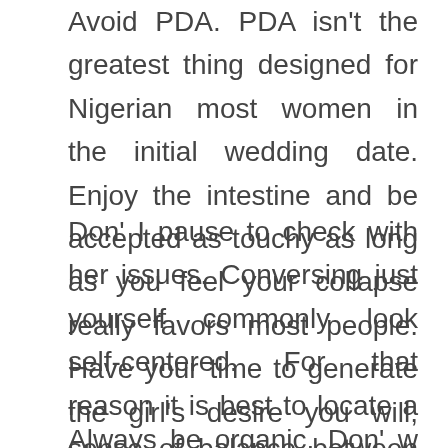Avoid PDA. PDA isn't the greatest thing designed for Nigerian most women in the initial wedding date. Enjoy the intestine and be accepted as touchy as long as you feel your collapse really favors most people. Have your time to generate the girl's desire you will, also.
Don' I pause to check with her issues. Conversing just yourself commonly look self-centered. For that reason it is best to locate a sense of balance between the information. Ask inquiries and identify interesting facts in the life. Steer clear of appearing as well bashful or simply exaggerate truth in the biography. This will conveniently piss apart ladies.
Always be organic. Don' w not try and become